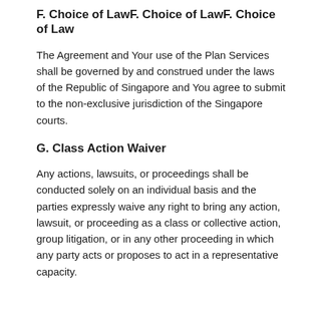F. Choice of LawF. Choice of LawF. Choice of Law
The Agreement and Your use of the Plan Services shall be governed by and construed under the laws of the Republic of Singapore and You agree to submit to the non-exclusive jurisdiction of the Singapore courts.
G. Class Action Waiver
Any actions, lawsuits, or proceedings shall be conducted solely on an individual basis and the parties expressly waive any right to bring any action, lawsuit, or proceeding as a class or collective action, group litigation, or in any other proceeding in which any party acts or proposes to act in a representative capacity.